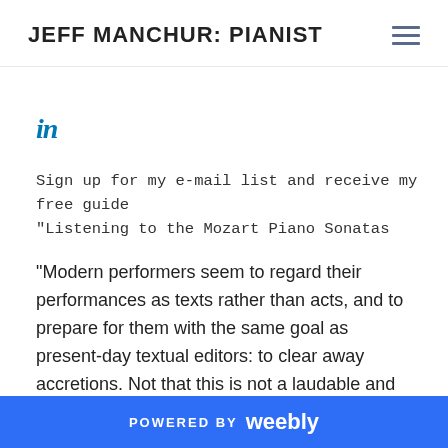JEFF MANCHUR: PIANIST
[Figure (logo): LinkedIn 'in' icon/logo in blue italic serif font]
Sign up for my e-mail list and receive my free guide "Listening to the Mozart Piano Sonatas
"Modern performers seem to regard their performances as texts rather than acts, and to prepare for them with the same goal as present-day textual editors: to clear away accretions. Not that this is not a laudable and necessary step; but what is an ultimate step for an editor should be only a first step for a
POWERED BY weebly